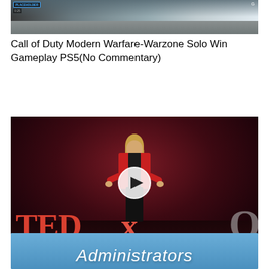[Figure (screenshot): Call of Duty Modern Warfare Warzone gameplay screenshot showing HUD elements on a battlefield scene]
Call of Duty Modern Warfare-Warzone Solo Win Gameplay PS5(No Commentary)
[Figure (screenshot): TEDxOcala talk screenshot showing a woman in a red jacket speaking on stage with TEDx letters visible, with a play button overlay]
Wellness: Break the Cycle  | Tyla Kennedy | TEDxOcala
[Figure (screenshot): Blue thumbnail with white italic text reading 'Administrators']